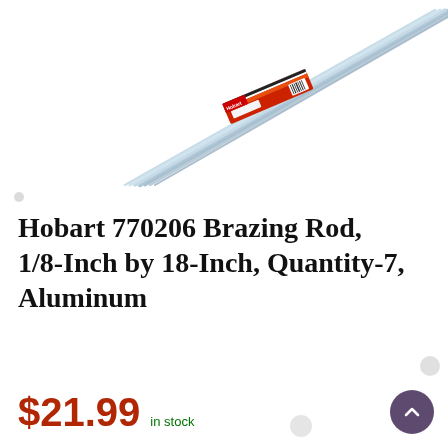[Figure (photo): Hobart 770206 brazing rods in packaging — several thin metallic aluminum rods with a red and white branded label/package, displayed diagonally against a white background]
Hobart 770206 Brazing Rod, 1/8-Inch by 18-Inch, Quantity-7, Aluminum
$21.99
in stock